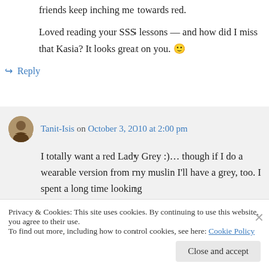friends keep inching me towards red.
Loved reading your SSS lessons — and how did I miss that Kasia? It looks great on you. 🙂
↪ Reply
Tanit-Isis on October 3, 2010 at 2:00 pm
I totally want a red Lady Grey :)… though if I do a wearable version from my muslin I'll have a grey, too. I spent a long time looking
Privacy & Cookies: This site uses cookies. By continuing to use this website, you agree to their use.
To find out more, including how to control cookies, see here: Cookie Policy
Close and accept